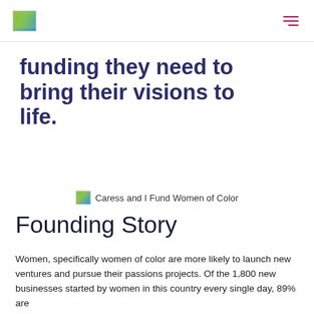[logo] [hamburger menu icon]
funding they need to bring their visions to life.
[Figure (photo): Caress and I Fund Women of Color logo/image placeholder]
Caress and I Fund Women of Color
Founding Story
Women, specifically women of color are more likely to launch new ventures and pursue their passions projects. Of the 1,800 new businesses started by women in this country every single day, 89% are